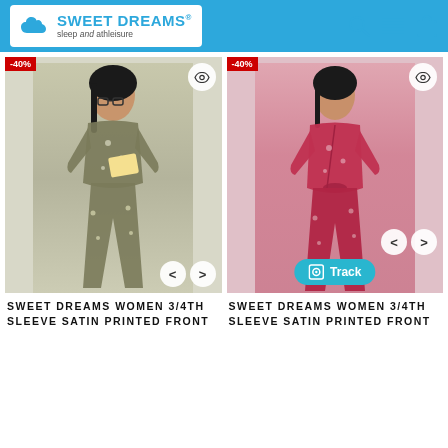Sweet Dreams sleep and athleisure
[Figure (photo): Woman wearing olive green satin printed 3/4 sleeve pajama set, reading a book, with -40% discount badge]
[Figure (photo): Woman wearing red/pink satin printed 3/4 sleeve pajama set, with -40% discount badge and Track button]
SWEET DREAMS WOMEN 3/4TH SLEEVE SATIN PRINTED FRONT
SWEET DREAMS WOMEN 3/4TH SLEEVE SATIN PRINTED FRONT